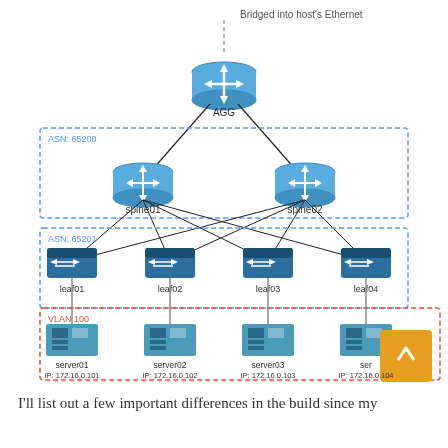[Figure (network-graph): Network topology diagram showing a spine-leaf architecture. At the top, a router labeled AGG is bridged into host's Ethernet via a dashed connection. AGG connects to two spine routers (spine01, spine02) in ASN: 65200 zone. Both spines connect in full mesh to four leaf switches (leaf01, leaf02, leaf03, leaf04) in ASN: 65201 zone. Each leaf connects to a server (server01 IP: 172.16.0.101, server02 IP: 172.16.0.102, server03 IP: 172.16.0.103, server04 IP: 172.16.0.104) in VLAN 100 zone.]
I'll list out a few important differences in the build since my